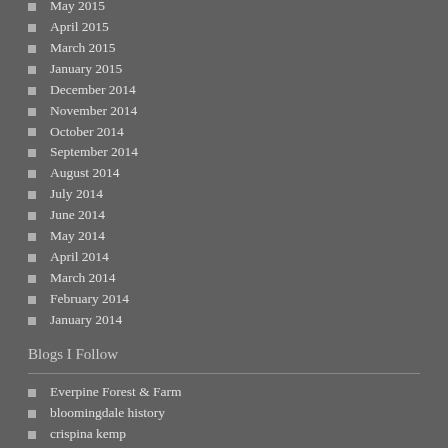May 2015
April 2015
March 2015
January 2015
December 2014
November 2014
October 2014
September 2014
August 2014
July 2014
June 2014
May 2014
April 2014
March 2014
February 2014
January 2014
Blogs I Follow
Everpine Forest & Farm
bloomingdale history
crispina kemp
WHAT PEGMAN SAW
Writers Unite!
ragtagcommunity.wordpress.com/
Lisa & Laura